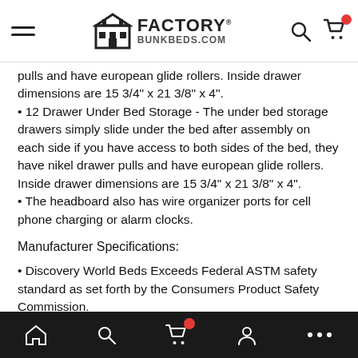Factory Bunkbeds.com navigation header
pulls and have european glide rollers. Inside drawer dimensions are 15 3/4" x 21 3/8" x 4".
12 Drawer Under Bed Storage - The under bed storage drawers simply slide under the bed after assembly on each side if you have access to both sides of the bed, they have nikel drawer pulls and have european glide rollers. Inside drawer dimensions are 15 3/4" x 21 3/8" x 4".
The headboard also has wire organizer ports for cell phone charging or alarm clocks.
Manufacturer Specifications:
Discovery World Beds Exceeds Federal ASTM safety standard as set forth by the Consumers Product Safety Commission.
All Discovery World Furniture products are 3rd party tested and certified free of Lead in both finishes and substrates.
Purchasing a Discovery World Furniture bed is a safe and healthy choice.
Discovery World Furniture Beds come with a 1 year manufacturers warranty.
Mobile bottom navigation bar